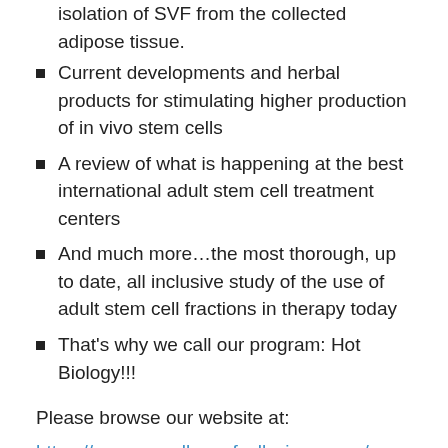isolation of SVF from the collected adipose tissue.
Current developments and herbal products for stimulating higher production of in vivo stem cells
A review of what is happening at the best international adult stem cell treatment centers
And much more…the most thorough, up to date, all inclusive study of the use of adult stem cell fractions in therapy today
That's why we call our program: Hot Biology!!!
Please browse our website at:
https://panamacollegeofcellscience.org/
And then come join us as we explore and learn about this fascinating new biology.